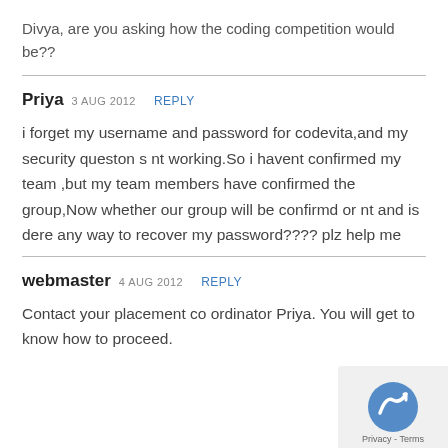Divya, are you asking how the coding competition would be??
Priya  3 AUG 2012  REPLY
i forget my username and password for codevita,and my security queston s nt working.So i havent confirmed my team ,but my team members have confirmed the group,Now whether our group will be confirmd or nt and is dere any way to recover my password???? plz help me
webmaster  4 AUG 2012  REPLY
Contact your placement co ordinator Priya. You will get to know how to proceed.